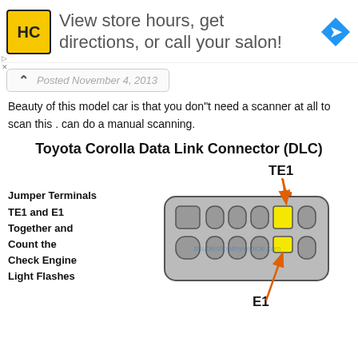[Figure (screenshot): Advertisement banner: HC salon logo, text 'View store hours, get directions, or call your salon!', blue navigation arrow icon]
Posted November 4, 2013
Beauty of this model car is that you don"t need a scanner at all to scan this . can do a manual scanning.
Toyota Corolla Data Link Connector (DLC)
[Figure (engineering-diagram): Toyota Corolla DLC connector diagram showing terminal layout with TE1 and E1 terminals highlighted in yellow, with orange arrows pointing to them. Left side shows text 'Jumper Terminals TE1 and E1 Together and Count the Check Engine Light Flashes'. Watermark: troubleshootmyvehicle.com]